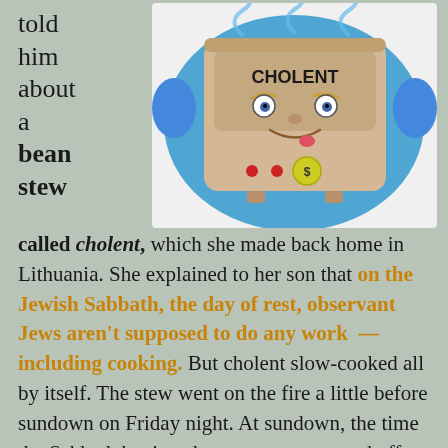told him about a bean stew
[Figure (illustration): Cartoon illustration of a slow cooker/crock pot labeled 'CHOLENT' with a smiling face, surrounded by a blue steam/glow effect]
called cholent, which she made back home in Lithuania. She explained to her son that on the Jewish Sabbath, the day of rest, observant Jews aren't supposed to do any work — including cooking. But cholent slow-cooked all by itself. The stew went on the fire a little before sundown on Friday night. At sundown, the time the Sabbath begins, the ovens were turned off. Pots of cholent were placed inside the ovens, and the residual heat, over the